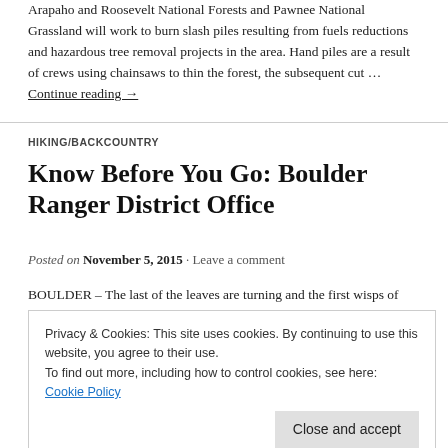Arapaho and Roosevelt National Forests and Pawnee National Grassland will work to burn slash piles resulting from fuels reductions and hazardous tree removal projects in the area. Hand piles are a result of crews using chainsaws to thin the forest, the subsequent cut … Continue reading →
HIKING/BACKCOUNTRY
Know Before You Go: Boulder Ranger District Office
Posted on November 5, 2015 · Leave a comment
BOULDER – The last of the leaves are turning and the first wisps of winter are brushing at the mountains. Seasons are changing at the Boulder Ranger District office as well. Before you hit the road to drive to the office for a permit, pass or map this winter, be sure to know before you … Continue reading…
Privacy & Cookies: This site uses cookies. By continuing to use this website, you agree to their use. To find out more, including how to control cookies, see here: Cookie Policy
[Figure (other): Advertisement banner with WordPress course ad and close/accept button]